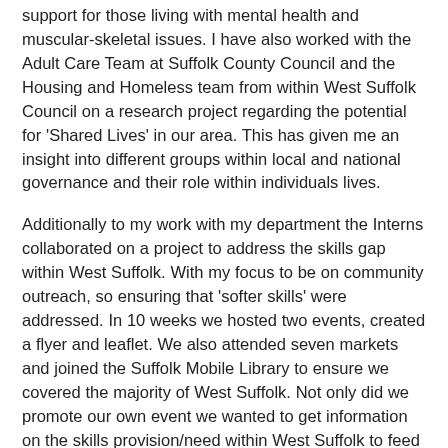support for those living with mental health and muscular-skeletal issues. I have also worked with the Adult Care Team at Suffolk County Council and the Housing and Homeless team from within West Suffolk Council on a research project regarding the potential for 'Shared Lives' in our area. This has given me an insight into different groups within local and national governance and their role within individuals lives.
Additionally to my work with my department the Interns collaborated on a project to address the skills gap within West Suffolk. With my focus to be on community outreach, so ensuring that 'softer skills' were addressed. In 10 weeks we hosted two events, created a flyer and leaflet. We also attended seven markets and joined the Suffolk Mobile Library to ensure we covered the majority of West Suffolk. Not only did we promote our own event we wanted to get information on the skills provision/need within West Suffolk to feed forward for future use.